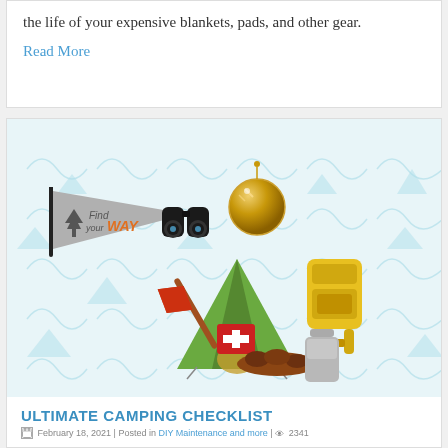the life of your expensive blankets, pads, and other gear.
Read More
[Figure (illustration): Camping gear illustration featuring a tent, backpack, binoculars, compass, axe, first aid kit, firewood, and a 'Find your WAY' pennant flag, on a light blue mountain-patterned background]
ULTIMATE CAMPING CHECKLIST
February 18, 2021 | Posted in DIY Maintenance and more | 2341